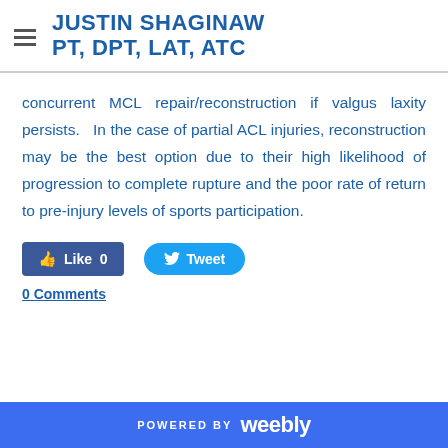JUSTIN SHAGINAW PT, DPT, LAT, ATC
concurrent MCL repair/reconstruction if valgus laxity persists. In the case of partial ACL injuries, reconstruction may be the best option due to their high likelihood of progression to complete rupture and the poor rate of return to pre-injury levels of sports participation.
[Figure (other): Facebook Like button (Like 0) and Twitter Tweet button]
0 Comments
POWERED BY weebly